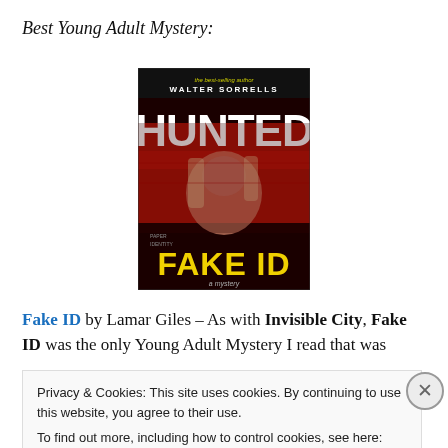Best Young Adult Mystery:
[Figure (photo): Book cover of 'Fake ID' by Walter Sorrells — dark red/black design with a woman's face, large white text 'HUNTED' at top, and yellow 'FAKE ID' text at bottom]
Fake ID by Lamar Giles – As with Invisible City, Fake ID was the only Young Adult Mystery I read that was
Privacy & Cookies: This site uses cookies. By continuing to use this website, you agree to their use.
To find out more, including how to control cookies, see here: Cookie Policy
Close and accept